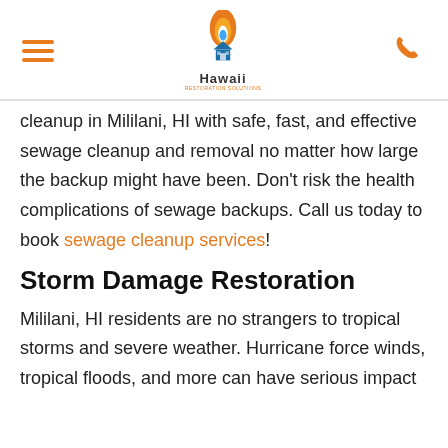Hawaii Restoration Solutions
cleanup in Mililani, HI with safe, fast, and effective sewage cleanup and removal no matter how large the backup might have been. Don't risk the health complications of sewage backups. Call us today to book sewage cleanup services!
Storm Damage Restoration
Mililani, HI residents are no strangers to tropical storms and severe weather. Hurricane force winds, tropical floods, and more can have serious impact